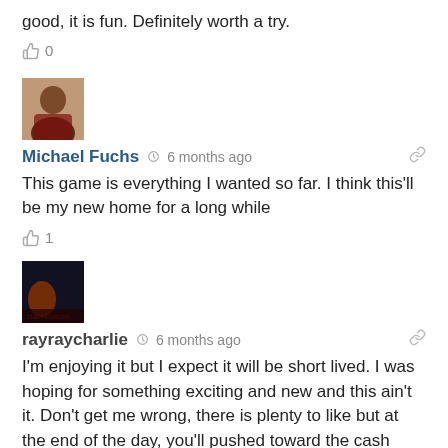good, it is fun. Definitely worth a try.
0
Michael Fuchs  6 months ago
This game is everything I wanted so far. I think this'll be my new home for a long while
1
rayraycharlie  6 months ago
I'm enjoying it but I expect it will be short lived. I was hoping for something exciting and new and this ain't it. Don't get me wrong, there is plenty to like but at the end of the day, you'll pushed toward the cash shop for either boosts, utility or cosmetic items. Such is gaming in YOOL 2022.